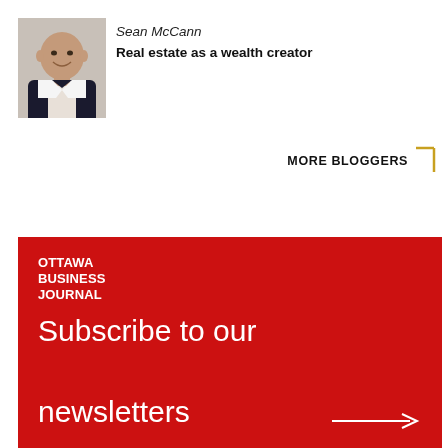[Figure (photo): Headshot photo of Sean McCann, a middle-aged bald man smiling, wearing a dark suit jacket]
Sean McCann
Real estate as a wealth creator
MORE BLOGGERS
[Figure (logo): Ottawa Business Journal logo - white text on red background reading OTTAWA BUSINESS JOURNAL]
Subscribe to our newsletters